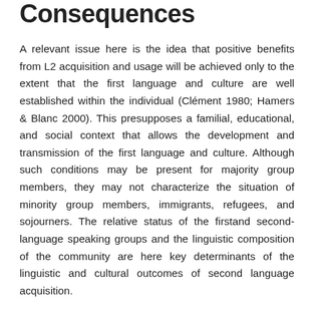Consequences
A relevant issue here is the idea that positive benefits from L2 acquisition and usage will be achieved only to the extent that the first language and culture are well established within the individual (Clément 1980; Hamers & Blanc 2000). This presupposes a familial, educational, and social context that allows the development and transmission of the first language and culture. Although such conditions may be present for majority group members, they may not characterize the situation of minority group members, immigrants, refugees, and sojourners. The relative status of the firstand second-language speaking groups and the linguistic composition of the community are here key determinants of the linguistic and cultural outcomes of second language acquisition.